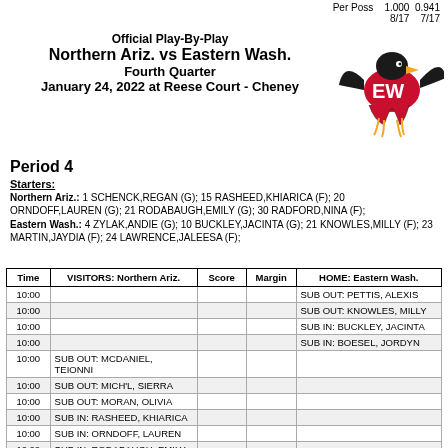Per Poss  1.000 0.941
8/17  7/17
Official Play-By-Play
Northern Ariz. vs Eastern Wash.
Fourth Quarter
January 24, 2022 at Reese Court - Cheney
[Figure (logo): Eastern Washington Eagles logo - red eagle on white background]
Period 4
Starters:
Northern Ariz.: 1 SCHENCK,REGAN (G); 15 RASHEED,KHIARICA (F); 20 ORNDOFF,LAUREN (G); 21 RODABAUGH,EMILY (G); 30 RADFORD,NINA (F);
Eastern Wash.: 4 ZYLAK,ANDIE (G); 10 BUCKLEY,JACINTA (G); 21 KNOWLES,MILLY (F); 23 MARTIN,JAYDIA (F); 24 LAWRENCE,JALEESA (F);
| Time | VISITORS: Northern Ariz. | Score | Margin | HOME: Eastern Wash. |
| --- | --- | --- | --- | --- |
| 10:00 |  |  |  | SUB OUT: PETTIS, ALEXIS |
| 10:00 |  |  |  | SUB OUT: KNOWLES, MILLY |
| 10:00 |  |  |  | SUB IN: BUCKLEY, JACINTA |
| 10:00 |  |  |  | SUB IN: BOESEL, JORDYN |
| 10:00 | SUB OUT: MCDANIEL, TEIONNI |  |  |  |
| 10:00 | SUB OUT: MICH'L, SIERRA |  |  |  |
| 10:00 | SUB OUT: MORAN, OLIVIA |  |  |  |
| 10:00 | SUB IN: RASHEED, KHIARICA |  |  |  |
| 10:00 | SUB IN: ORNDOFF, LAUREN |  |  |  |
| 10:00 | SUB IN: RODABAUGH, EMILY |  |  |  |
| 09:50 |  |  |  | MISSED LAYUP by BUCKLEY, JACINTA |
| 09:48 |  |  |  | REBOUND (OFF) by BUCKLEY, JACINTA |
| 09:46 |  |  | 40-52 | V 12 | GOOD! LAYUP by BUCKLEY, JACINTA [PNT] |
| 09:26 | MISSED 3PTR by RODABAUGH, EMILY |  |  |  |
| 09:21 | REBOUND (OFF) by RASHEED, KHIARICA |  |  |  |